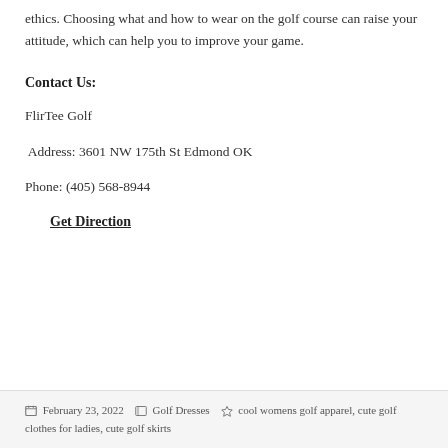ethics. Choosing what and how to wear on the golf course can raise your attitude, which can help you to improve your game.
Contact Us:
FlirTee Golf
Address: 3601 NW 175th St Edmond OK
Phone: (405) 568-8944
Get Direction
February 23, 2022   Golf Dresses   cool womens golf apparel, cute golf clothes for ladies, cute golf skirts